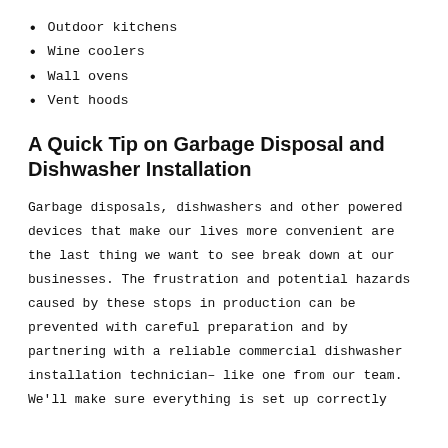Outdoor kitchens
Wine coolers
Wall ovens
Vent hoods
A Quick Tip on Garbage Disposal and Dishwasher Installation
Garbage disposals, dishwashers and other powered devices that make our lives more convenient are the last thing we want to see break down at our businesses. The frustration and potential hazards caused by these stops in production can be prevented with careful preparation and by partnering with a reliable commercial dishwasher installation technician– like one from our team. We'll make sure everything is set up correctly